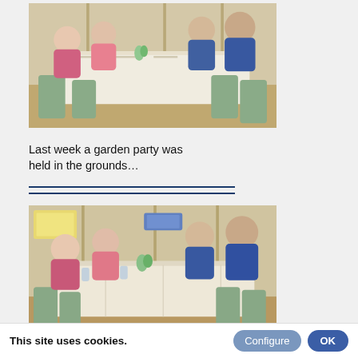[Figure (photo): Group of elderly people seated around a long dining table in an indoor hall setting, with place settings and flowers on the table. Women in pink cardigans on the left, men in blue jumpers on the right.]
Last week a garden party was held in the grounds…
[Figure (photo): Same group of elderly people seated around the dining table, a closer or slightly different angle of the same scene.]
This site uses cookies.